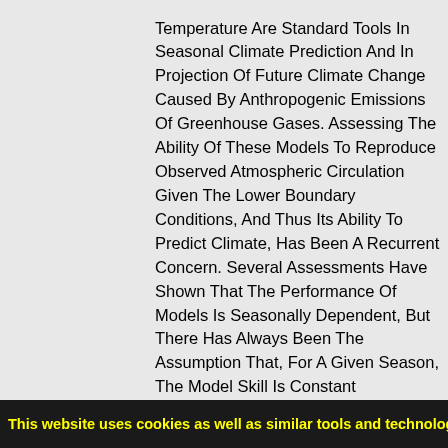Temperature Are Standard Tools In Seasonal Climate Prediction And In Projection Of Future Climate Change Caused By Anthropogenic Emissions Of Greenhouse Gases. Assessing The Ability Of These Models To Reproduce Observed Atmospheric Circulation Given The Lower Boundary Conditions, And Thus Its Ability To Predict Climate, Has Been A Recurrent Concern. Several Assessments Have Shown That The Performance Of Models Is Seasonally Dependent, But There Has Always Been The Assumption That, For A Given Season, The Model Skill Is Constant Throughout The Period Being Analyzed. Here, It Is Demonstrated That There Are Periods When These Models Perform Well And Periods When They Do Not Capture Observed Climate Variability. The Variations Of The Model Performance Have Temporal Scales And Spatial Patterns Consistent With Decadal/Interdecadal Climate Variability. These Results Suggest That There Are Unmodeled Climate Processes That Affect Seasonal Climate Prediction As Well As Scenarios Of Climate Change, Particularly
This website uses cookies as well as similar tools and technologies